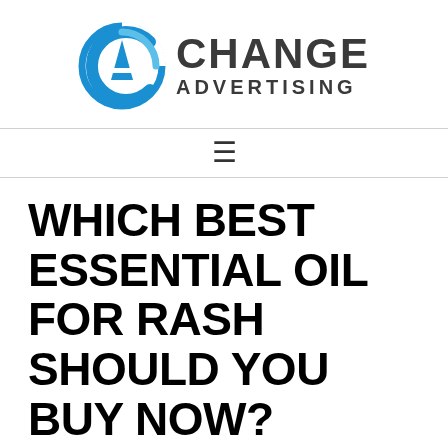[Figure (logo): Change Advertising logo with blue circular CA icon and bold dark grey text reading CHANGE ADVERTISING]
≡ (navigation menu icon)
WHICH BEST ESSENTIAL OIL FOR RASH SHOULD YOU BUY NOW?
June 22, 2022 by Marvin kim Leave a Comment